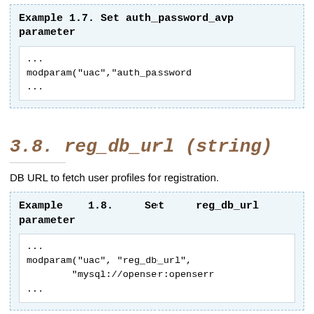Example 1.7. Set auth_password_avp parameter
...
modparam("uac","auth_password
...
3.8. reg_db_url (string)
DB URL to fetch user profiles for registration.
Example 1.8. Set reg_db_url parameter
...
modparam("uac", "reg_db_url",
        "mysql://openser:openserr
...